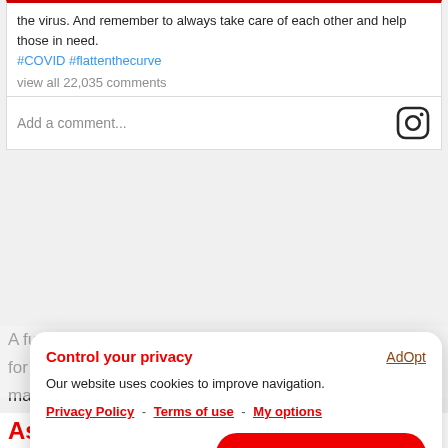the virus. And remember to always take care of each other and help those in need. #COVID #flattenthecurve
view all 22,035 comments
Add a comment...
A fu... rs for b... s, mas... circ... se con... es
[Figure (screenshot): Privacy consent modal overlay: 'Control your privacy' header in red, AdOpt link, cookie usage notice, Privacy Policy, Terms of use, My options links, DO NOT SELL and ACCEPT buttons]
As últimas notícias da pandemia do